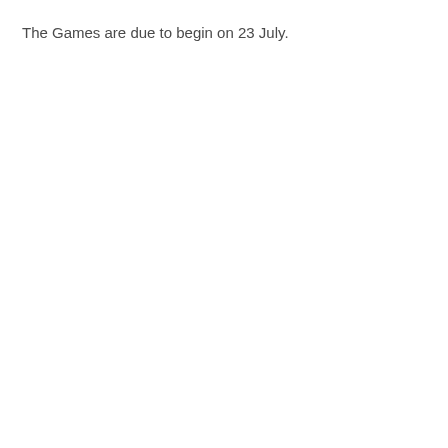The Games are due to begin on 23 July.